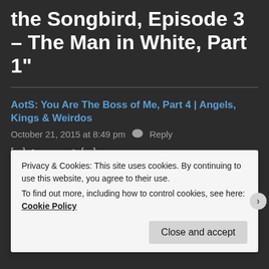the Songbird, Episode 3 – The Man in White, Part 1"
AotS: You Are The Boss of Me, Part 4 | Angels, Kings & Weirdos
October 21, 2015 at 8:49 pm  Reply
[...] <--        --> [...]
Privacy & Cookies: This site uses cookies. By continuing to use this website, you agree to their use.
To find out more, including how to control cookies, see here: Cookie Policy
Close and accept